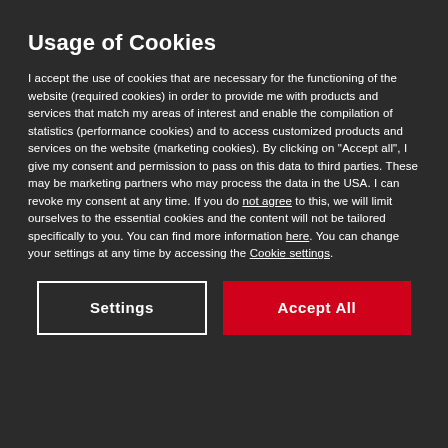Usage of Cookies
I accept the use of cookies that are necessary for the functioning of the website (required cookies) in order to provide me with products and services that match my areas of interest and enable the compilation of statistics (performance cookies) and to access customized products and services on the website (marketing cookies). By clicking on "Accept all", I give my consent and permission to pass on this data to third parties. These may be marketing partners who may process the data in the USA. I can revoke my consent at any time. If you do not agree to this, we will limit ourselves to the essential cookies and the content will not be tailored specifically to you. You can find more information here. You can change your settings at any time by accessing the Cookie settings.